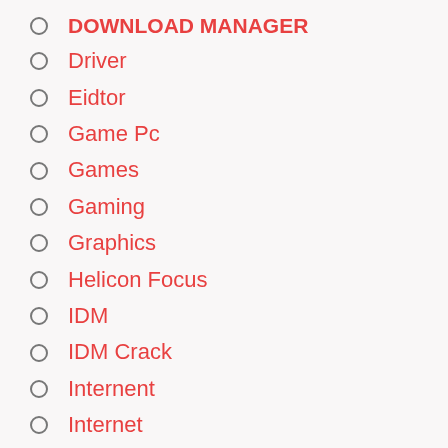DOWNLOAD MANAGER
Driver
Eidtor
Game Pc
Games
Gaming
Graphics
Helicon Focus
IDM
IDM Crack
Internent
Internet
Key
Keys
Mac